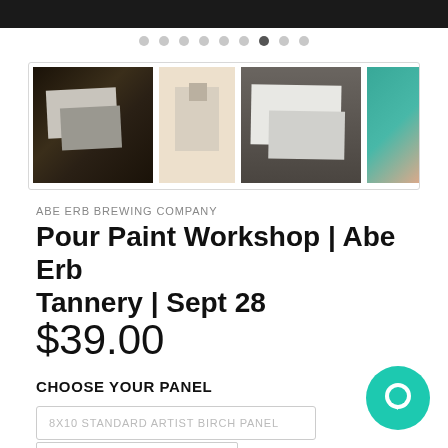[Figure (photo): Dark top image strip, partial product image]
[Figure (photo): Carousel dots navigation with 9 dots, 7th dot active]
[Figure (photo): Thumbnail strip with 4 product photos showing artist birch panels]
ABE ERB BREWING COMPANY
Pour Paint Workshop | Abe Erb Tannery | Sept 28
$39.00
CHOOSE YOUR PANEL
8X10 STANDARD ARTIST BIRCH PANEL